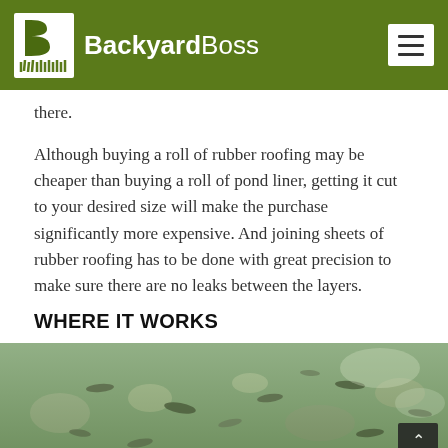BackyardBoss
there.
Although buying a roll of rubber roofing may be cheaper than buying a roll of pond liner, getting it cut to your desired size will make the purchase significantly more expensive. And joining sheets of rubber roofing has to be done with great precision to make sure there are no leaks between the layers.
WHERE IT WORKS
[Figure (photo): Underwater photo of fish swimming in a shallow clear pond with rocks and aquatic plants visible]